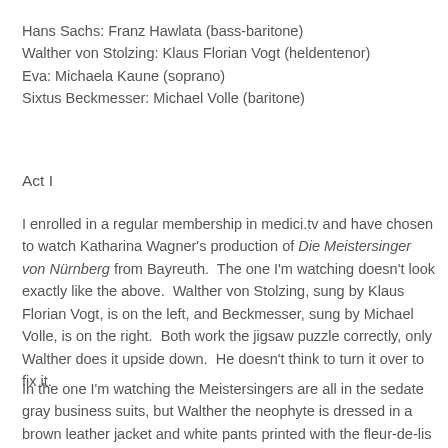Hans Sachs: Franz Hawlata (bass-baritone)
Walther von Stolzing: Klaus Florian Vogt (heldentenor)
Eva: Michaela Kaune (soprano)
Sixtus Beckmesser: Michael Volle (baritone)
Act I
I enrolled in a regular membership in medici.tv and have chosen to watch Katharina Wagner's production of Die Meistersinger von Nürnberg from Bayreuth.  The one I'm watching doesn't look exactly like the above.  Walther von Stolzing, sung by Klaus Florian Vogt, is on the left, and Beckmesser, sung by Michael Volle, is on the right.  Both work the jigsaw puzzle correctly, only Walther does it upside down.  He doesn't think to turn it over to fix it.
In the one I'm watching the Meistersingers are all in the sedate gray business suits, but Walther the neophyte is dressed in a brown leather jacket and white pants printed with the fleur-de-lis in black.  This changes him into someone